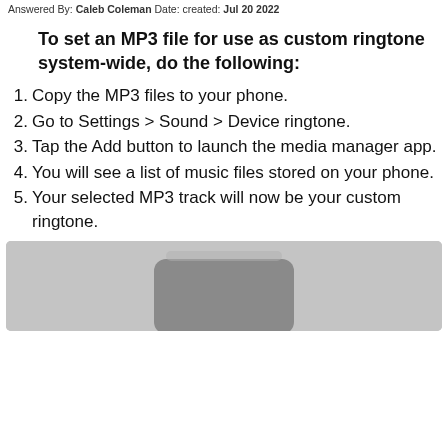Answered By: Caleb Coleman Date: created: Jul 20 2022
To set an MP3 file for use as custom ringtone system-wide, do the following:
Copy the MP3 files to your phone.
Go to Settings > Sound > Device ringtone.
Tap the Add button to launch the media manager app.
You will see a list of music files stored on your phone.
Your selected MP3 track will now be your custom ringtone.
[Figure (photo): Photo of a phone device, grayscale, showing a phone resting on a light gray surface]